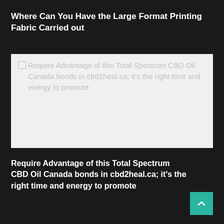Where Can You Have the Large Format Printing Fabric Carried out
[Figure (photo): Broken/unloaded image placeholder showing alt text: 'Require Advantage of this Total Spectrum CBD Oil Canada bonds in cbd2heal.ca; it's the right time and energy to promote']
Require Advantage of this Total Spectrum CBD Oil Canada bonds in cbd2heal.ca; it's the right time and energy to promote